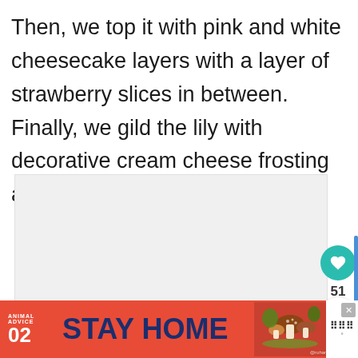Then, we top it with pink and white cheesecake layers with a layer of strawberry slices in between. Finally, we gild the lily with decorative cream cheese frosting and strawberries.
[Figure (photo): Partially visible image area with light gray background, likely a food photo being loaded]
[Figure (infographic): Animal Advice 02 STAY HOME advertisement banner in red with dark blue text, illustration of mushrooms/nature scene, @rohandahotre credit]